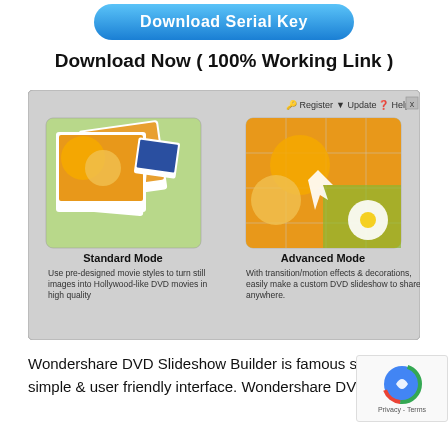[Figure (screenshot): Blue rounded button labeled 'Download Serial Key']
Download Now ( 100% Working Link )
[Figure (screenshot): Application window showing Standard Mode and Advanced Mode options for Wondershare DVD Slideshow Builder. Toolbar with Register, Update, Help buttons and close button. Standard Mode shows polaroid-style photo collage; Advanced Mode shows orange/daisy image with grid overlay.]
Wondershare DVD Slideshow Builder is famous software world. It is wonderful software. So many people uses it. It software is simple & user friendly interface. Wondershare DVD